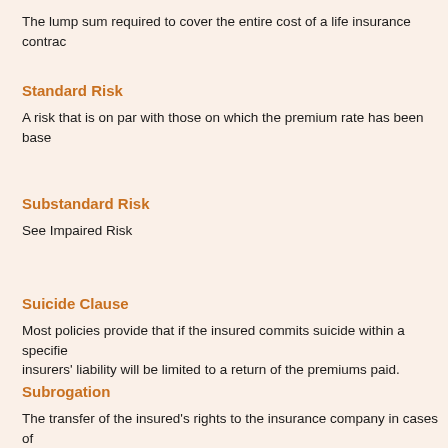The lump sum required to cover the entire cost of a life insurance contrac...
Standard Risk
A risk that is on par with those on which the premium rate has been base...
Substandard Risk
See Impaired Risk
Suicide Clause
Most policies provide that if the insured commits suicide within a specifie... insurers' liability will be limited to a return of the premiums paid.
Subrogation
The transfer of the insured's rights to the insurance company in cases of... insurance company can recover damages from another if fault lies there.